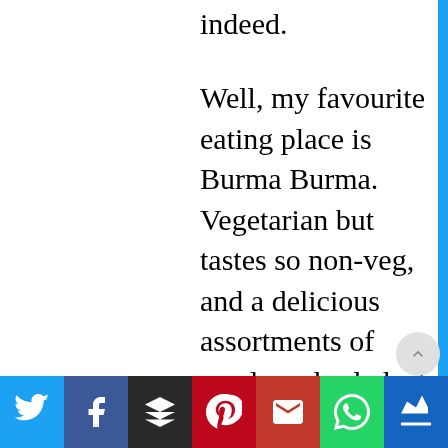indeed.
Well, my favourite eating place is Burma Burma. Vegetarian but tastes so non-veg, and a delicious assortments of meals and salads. I love their menu, painstakingly created to bring in creativity and tickle the taste buds. The best I've tried.
I also like Town Hall
[Figure (infographic): Social media sharing bar at the bottom with icons for Twitter, Facebook, Buffer, Pinterest, Gmail/Google, WhatsApp, and a crown icon]